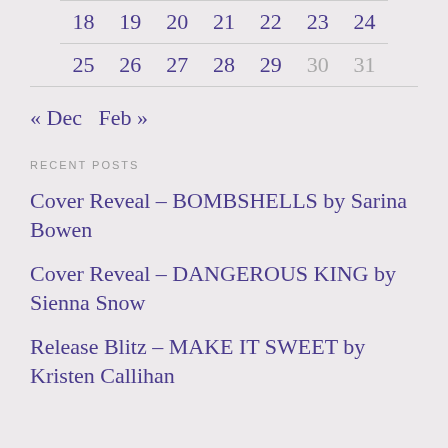| 18 | 19 | 20 | 21 | 22 | 23 | 24 |
| 25 | 26 | 27 | 28 | 29 | 30 | 31 |
« Dec   Feb »
RECENT POSTS
Cover Reveal – BOMBSHELLS by Sarina Bowen
Cover Reveal – DANGEROUS KING by Sienna Snow
Release Blitz – MAKE IT SWEET by Kristen Callihan